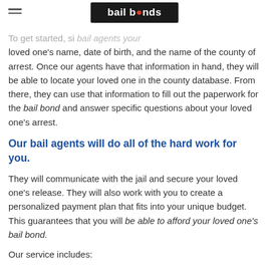[Figure (logo): Bail bonds company logo — white text 'bail bonds' on dark background with red icon above]
To get started, simply call bail agents your loved one's name, date of birth, and the name of the county of arrest. Once our agents have that information in hand, they will be able to locate your loved one in the county database. From there, they can use that information to fill out the paperwork for the bail bond and answer specific questions about your loved one's arrest.
Our bail agents will do all of the hard work for you.
They will communicate with the jail and secure your loved one's release. They will also work with you to create a personalized payment plan that fits into your unique budget. This guarantees that you will be able to afford your loved one's bail bond.
Our service includes: